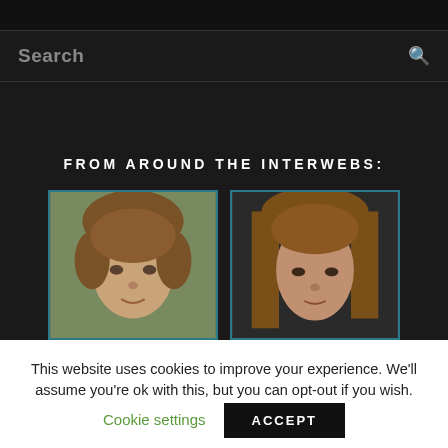Search
FROM AROUND THE INTERWEBS:
[Figure (photo): Two side-by-side photos of young males with brown hair, shown from the shoulders up, with teal/blue borders]
This website uses cookies to improve your experience. We'll assume you're ok with this, but you can opt-out if you wish.
Cookie settings   ACCEPT